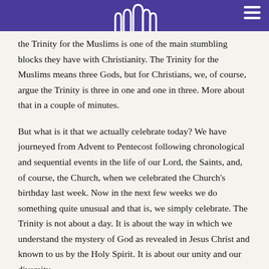[Church logo and navigation header]
the Trinity for the Muslims is one of the main stumbling blocks they have with Christianity. The Trinity for the Muslims means three Gods, but for Christians, we, of course, argue the Trinity is three in one and one in three. More about that in a couple of minutes.
But what is it that we actually celebrate today? We have journeyed from Advent to Pentecost following chronological and sequential events in the life of our Lord, the Saints, and, of course, the Church, when we celebrated the Church's birthday last week. Now in the next few weeks we do something quite unusual and that is, we simply celebrate. The Trinity is not about a day. It is about the way in which we understand the mystery of God as revealed in Jesus Christ and known to us by the Holy Spirit. It is about our unity and our diversity.